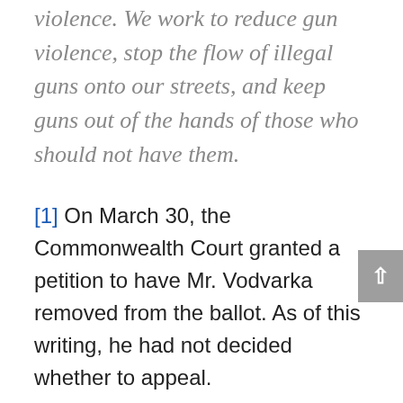violence. We work to reduce gun violence, stop the flow of illegal guns onto our streets, and keep guns out of the hands of those who should not have them.
[1] On March 30, the Commonwealth Court granted a petition to have Mr. Vodvarka removed from the ballot. As of this writing, he had not decided whether to appeal.